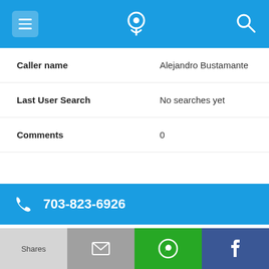[Figure (screenshot): Mobile app top navigation bar with hamburger menu icon on left, phone/location pin icon in center, and search icon on right, all on blue background]
| Caller name | Alejandro Bustamante |
| Last User Search | No searches yet |
| Comments | 0 |
703-823-6926
| Alternate Form | 7038236926 |
| Caller name | Julia A. Peckingaugh |
| Last User Search | No searches yet |
Shares | [email icon] | [WhatsApp icon] | [Facebook icon]